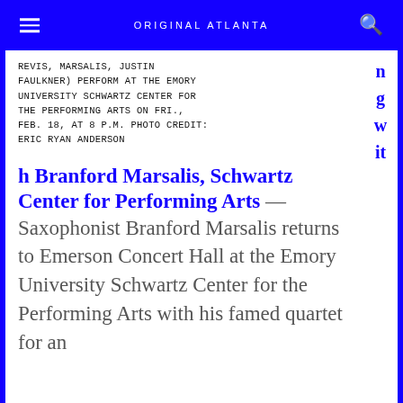ORIGINAL ATLANTA
REVIS, MARSALIS, JUSTIN FAULKNER) PERFORM AT THE EMORY UNIVERSITY SCHWARTZ CENTER FOR THE PERFORMING ARTS ON FRI., FEB. 18, AT 8 P.M. PHOTO CREDIT: ERIC RYAN ANDERSON
h Branford Marsalis, Schwartz Center for Performing Arts
Saxophonist Branford Marsalis returns to Emerson Concert Hall at the Emory University Schwartz Center for the Performing Arts with his famed quartet for an